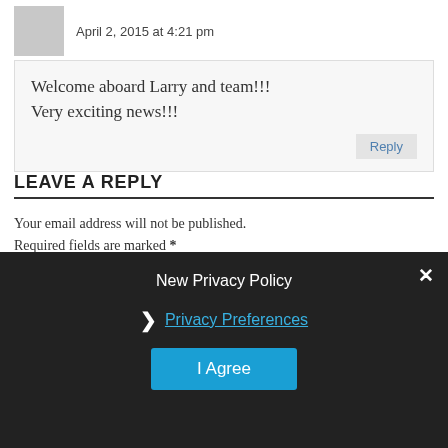April 2, 2015 at 4:21 pm
Welcome aboard Larry and team!!! Very exciting news!!!
Reply
LEAVE A REPLY
Your email address will not be published. Required fields are marked *
Name *
Email *
New Privacy Policy
Privacy Preferences
I Agree